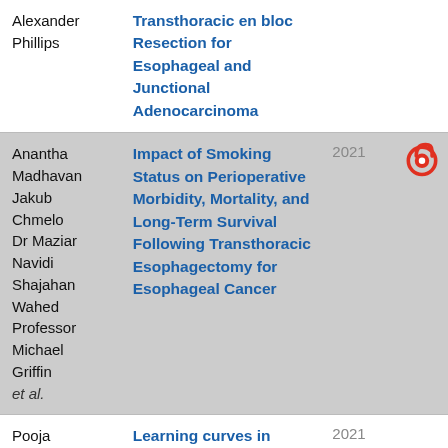| Author | Title | Year | Open Access |
| --- | --- | --- | --- |
| Alexander Phillips | Transthoracic en bloc Resection for Esophageal and Junctional Adenocarcinoma |  |  |
| Anantha Madhavan Jakub Chmelo Dr Maziar Navidi Shajahan Wahed Professor Michael Griffin et al. | Impact of Smoking Status on Perioperative Morbidity, Mortality, and Long-Term Survival Following Transthoracic Esophagectomy for Esophageal Cancer | 2021 | open access |
| Pooja Prasad Maziar | Learning curves in minimally invasive esophagectomy: A | 2021 |  |